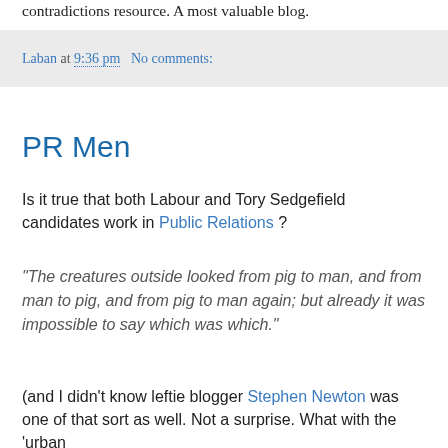contradictions resource. A most valuable blog.
Laban at 9:36 pm   No comments:
PR Men
Is it true that both Labour and Tory Sedgefield candidates work in Public Relations ?
"The creatures outside looked from pig to man, and from man to pig, and from pig to man again; but already it was impossible to say which was which."
(and I didn't know leftie blogger Stephen Newton was one of that sort as well. Not a surprise. What with the 'urban